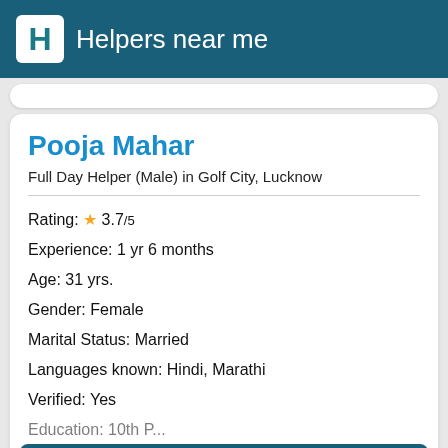Helpers near me
Pooja Mahar
Full Day Helper (Male) in Golf City, Lucknow
Rating: ★ 3.7/5
Experience: 1 yr 6 months
Age: 31 yrs.
Gender: Female
Marital Status: Married
Languages known: Hindi, Marathi
Verified: Yes
Education: 10th P...
Find & Hire now →
Looking for work: Around 3 km of Golf City,